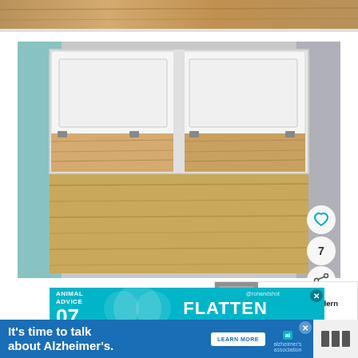[Figure (photo): Top partial strip of a wood floor interior photo]
[Figure (photo): Interior photo showing an open under-bed storage compartment in what appears to be a tiny home or RV. Two white lift-up panels reveal wooden storage bins underneath, with wood-look vinyl flooring visible inside and outside the compartment.]
WHAT'S NEXT → Ocracoke by Modern Tiny...
[Figure (advertisement): Teal advertisement for Animal Advice with text FLATTEN THE CURVE and @rohandshot handle]
[Figure (advertisement): Blue advertisement: It's time to talk about Alzheimer's. LEARN MORE. Alzheimer's association logo.]